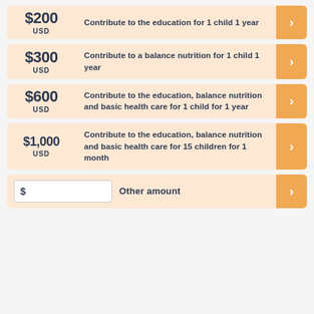$200 USD — Contribute to the education for 1 child 1 year
$300 USD — Contribute to a balance nutrition for 1 child 1 year
$600 USD — Contribute to the education, balance nutrition and basic health care for 1 child for 1 year
$1,000 USD — Contribute to the education, balance nutrition and basic health care for 15 children for 1 month
$ [input field] Other amount